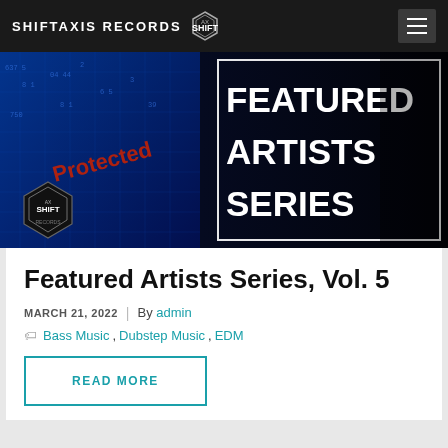SHIFTAXIS RECORDS
[Figure (illustration): Featured Artists Series banner image with blue digital/circuit board background and bold white text reading FEATURED ARTISTS SERIES, with ShiftAxis Records logo in lower left]
Featured Artists Series, Vol. 5
MARCH 21, 2022 | By admin
Bass Music, Dubstep Music, EDM
READ MORE